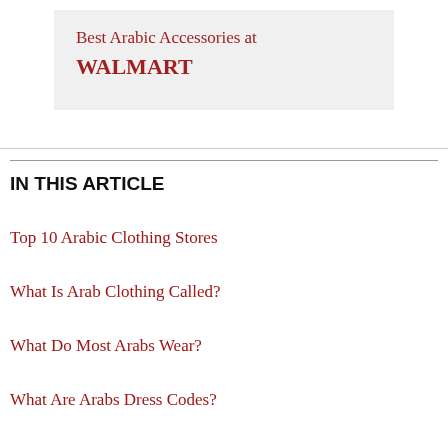[Figure (other): Card box with light gray background showing 'Best Arabic Accessories at WALMART' text in dark red/crimson color]
IN THIS ARTICLE
Top 10 Arabic Clothing Stores
What Is Arab Clothing Called?
What Do Most Arabs Wear?
What Are Arabs Dress Codes?